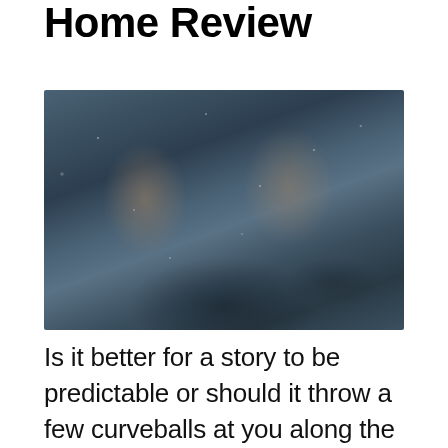Home Review
[Figure (photo): Two people in winter medieval-style clothing standing together in a snowy outdoor scene. A young man in fur-trimmed coat faces a young woman in a dark cloak; they appear to be sharing an emotional moment, possibly from a fantasy TV series.]
Is it better for a story to be predictable or should it throw a few curveballs at you along the way? If